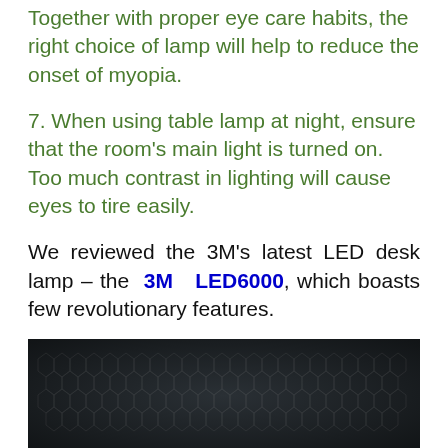Together with proper eye care habits, the right choice of lamp will help to reduce the onset of myopia.
7. When using table lamp at night, ensure that the room's main light is turned on. Too much contrast in lighting will cause eyes to tire easily.
We reviewed the 3M's latest LED desk lamp – the 3M LED6000, which boasts few revolutionary features.
[Figure (photo): Dark close-up photo of a lamp or textured material surface]